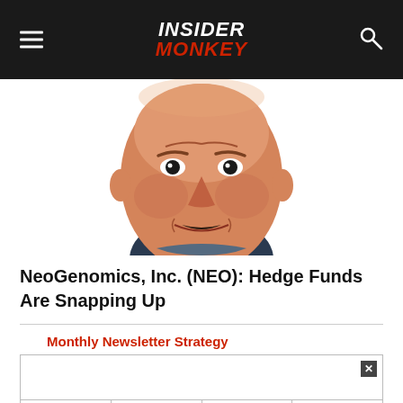INSIDER MONKEY
[Figure (illustration): Caricature illustration of a man's face with exaggerated features, orange/warm skin tones, dark suit visible at bottom]
NeoGenomics, Inc. (NEO): Hedge Funds Are Snapping Up
Monthly Newsletter Strategy